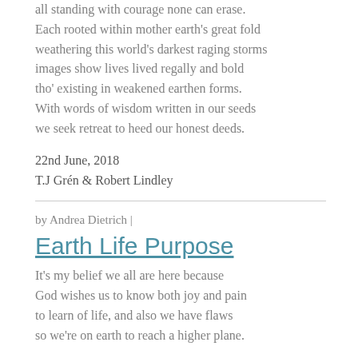all standing with courage none can erase.
Each rooted within mother earth's great fold
weathering this world's darkest raging storms
images show lives lived regally and bold
tho' existing in weakened earthen forms.
With words of wisdom written in our seeds
we seek retreat to heed our honest deeds.
22nd June, 2018
T.J Grén & Robert Lindley
by Andrea Dietrich |
Earth Life Purpose
It's my belief we all are here because
God wishes us to know both joy and pain
to learn of life, and also we have flaws
so we're on earth to reach a higher plane.
Our life experiences help us to find
those attributes we're in possession of